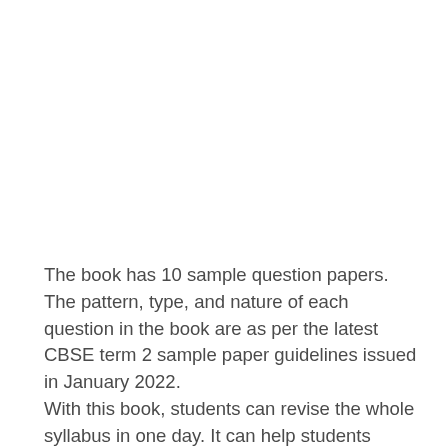The book has 10 sample question papers. The pattern, type, and nature of each question in the book are as per the latest CBSE term 2 sample paper guidelines issued in January 2022.
With this book, students can revise the whole syllabus in one day. It can help students perform better in the board